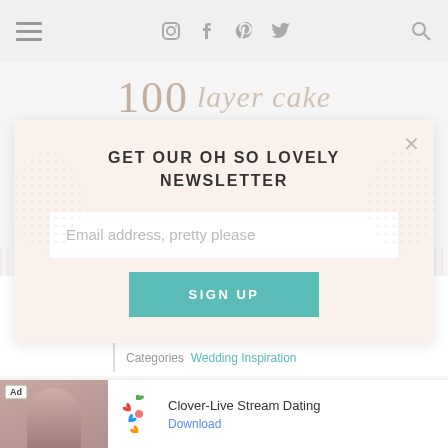Navigation bar with menu, social icons (Instagram, Facebook, Pinterest, Twitter), and search icon
[Figure (logo): 100 Layer Cake logo — large '100' numeral with script text below]
[Figure (screenshot): Newsletter signup modal with title 'GET OUR OH SO LOVELY NEWSLETTER', email input field 'Email address, pretty please', SIGN UP button, and X close button. Modal has a light peach/cream background with decorative dot patterns.]
Modern wedding inspiration with dramatic florals
Categories  Wedding Inspiration
[Figure (screenshot): Advertisement banner for Clover-Live Stream Dating app, showing a photo of a woman, the Clover four-leaf clover logo in colorful hearts, app name 'Clover-Live Stream Dating', and a 'Download' link.]